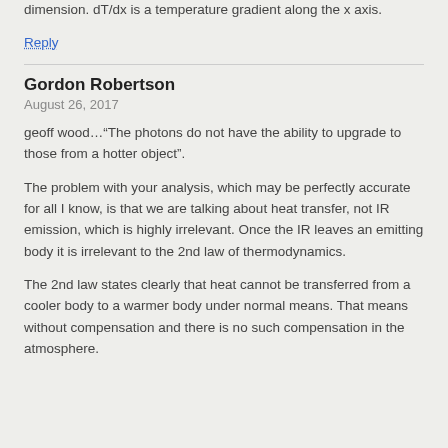dimension. dT/dx is a temperature gradient along the x axis.
Reply
Gordon Robertson
August 26, 2017
geoff wood…“The photons do not have the ability to upgrade to those from a hotter object”.
The problem with your analysis, which may be perfectly accurate for all I know, is that we are talking about heat transfer, not IR emission, which is highly irrelevant. Once the IR leaves an emitting body it is irrelevant to the 2nd law of thermodynamics.
The 2nd law states clearly that heat cannot be transferred from a cooler body to a warmer body under normal means. That means without compensation and there is no such compensation in the atmosphere.